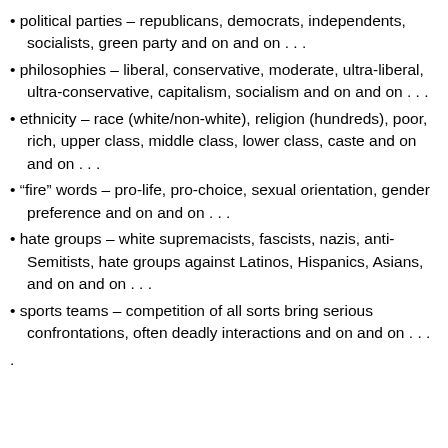• political parties – republicans, democrats, independents, socialists, green party and on and on . . .
• philosophies – liberal, conservative, moderate, ultra-liberal, ultra-conservative, capitalism, socialism and on and on . . .
• ethnicity – race (white/non-white), religion (hundreds), poor, rich, upper class, middle class, lower class, caste and on and on . . .
• “fire” words – pro-life, pro-choice, sexual orientation, gender preference and on and on . . .
• hate groups – white supremacists, fascists, nazis, anti-Semitists, hate groups against Latinos, Hispanics, Asians, and on and on . . .
• sports teams – competition of all sorts bring serious confrontations, often deadly interactions and on and on . . .
.